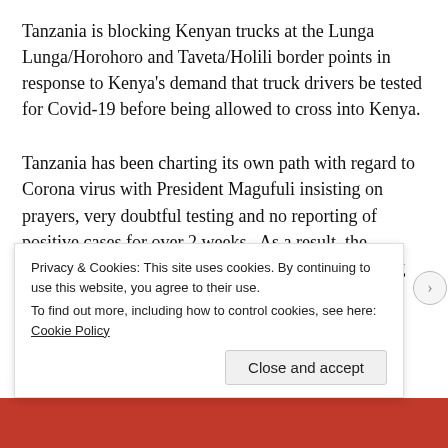Tanzania is blocking Kenyan trucks at the Lunga Lunga/Horohoro and Taveta/Holili border points in response to Kenya's demand that truck drivers be tested for Covid-19 before being allowed to cross into Kenya.
Tanzania has been charting its own path with regard to Corona virus with President Magufuli insisting on prayers, very doubtful testing and no reporting of positive cases for over 2 weeks . As a result, the neighbouring countries have been routinely detecting positive cases from Tanzanian truck drivers.
Trade between the two neighbours annually reaches Ksh 62 billion...
Privacy & Cookies: This site uses cookies. By continuing to use this website, you agree to their use.
To find out more, including how to control cookies, see here: Cookie Policy
Close and accept